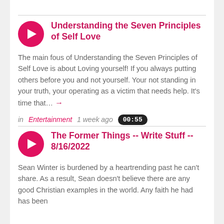Understanding the Seven Principles of Self Love
The main fous of Understanding the Seven Principles of Self Love is about Loving yourself! If you always putting others before you and not yourself. Your not standing in your truth, your operating as a victim that needs help. It's time that… →
in Entertainment   1 week ago   00:55
The Former Things -- Write Stuff -- 8/16/2022
Sean Winter is burdened by a heartrending past he can't share. As a result, Sean doesn't believe there are any good Christian examples in the world. Any faith he had has been